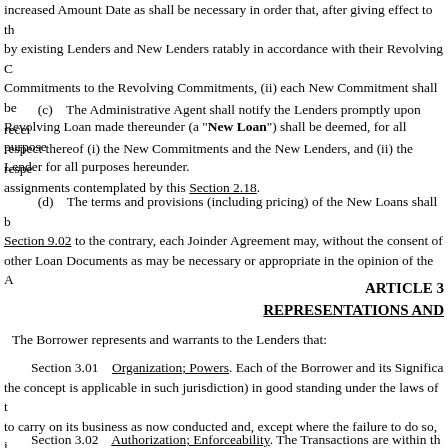increased Amount Date as shall be necessary in order that, after giving effect to the by existing Lenders and New Lenders ratably in accordance with their Revolving Commitments to the Revolving Commitments, (ii) each New Commitment shall be Revolving Loan made thereunder (a "New Loan") shall be deemed, for all purposes Lender for all purposes hereunder.
(c)    The Administrative Agent shall notify the Lenders promptly upon receipt respect thereof (i) the New Commitments and the New Lenders, and (ii) the respective assignments contemplated by this Section 2.18.
(d)    The terms and provisions (including pricing) of the New Loans shall be Section 9.02 to the contrary, each Joinder Agreement may, without the consent of a other Loan Documents as may be necessary or appropriate in the opinion of the Ad
ARTICLE 3
REPRESENTATIONS AND
The Borrower represents and warrants to the Lenders that:
Section 3.01    Organization; Powers. Each of the Borrower and its Significant the concept is applicable in such jurisdiction) in good standing under the laws of the to carry on its business as now conducted and, except where the failure to do so, in result in a Material Adverse Effect, is qualified to do business in, and is in good standing every jurisdiction where such qualification is required.
Section 3.02    Authorization; Enforceability. The Transactions are within the organizational powers and have been duly authorized by all necessary corporate or the Borrower and the other Loan Parties has duly executed and delivered each of